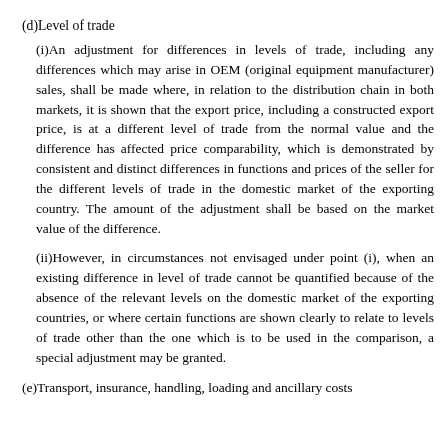(d)Level of trade
(i)An adjustment for differences in levels of trade, including any differences which may arise in OEM (original equipment manufacturer) sales, shall be made where, in relation to the distribution chain in both markets, it is shown that the export price, including a constructed export price, is at a different level of trade from the normal value and the difference has affected price comparability, which is demonstrated by consistent and distinct differences in functions and prices of the seller for the different levels of trade in the domestic market of the exporting country. The amount of the adjustment shall be based on the market value of the difference.
(ii)However, in circumstances not envisaged under point (i), when an existing difference in level of trade cannot be quantified because of the absence of the relevant levels on the domestic market of the exporting countries, or where certain functions are shown clearly to relate to levels of trade other than the one which is to be used in the comparison, a special adjustment may be granted.
(e)Transport, insurance, handling, loading and ancillary costs